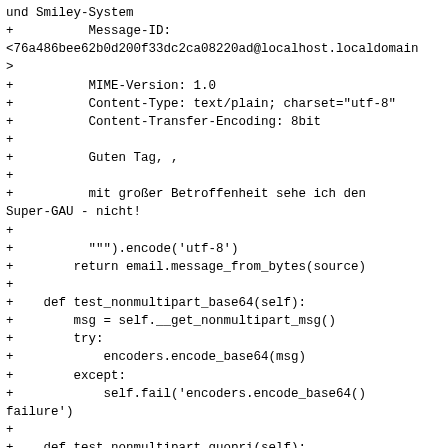und Smiley-System
+          Message-ID:
<76a486bee62b0d200f33dc2ca08220ad@localhost.localdomain
>
+          MIME-Version: 1.0
+          Content-Type: text/plain; charset="utf-8"
+          Content-Transfer-Encoding: 8bit
+
+          Guten Tag, ,
+
+          mit groÃŸer Betroffenheit sehe ich den
Super-GAU - nicht!
+
+          """).encode('utf-8')
+        return email.message_from_bytes(source)
+
+    def test_nonmultipart_base64(self):
+        msg = self.__get_nonmultipart_msg()
+        try:
+            encoders.encode_base64(msg)
+        except:
+            self.fail('encoders.encode_base64()
failure')
+
+    def test_nonmultipart_quopri(self):
+        msg = self.__get_nonmultipart_msg()
+        try:
+            encoders.encode_quopri(msg)
+        except:
+            self.fail('encoders.encode_quopri()